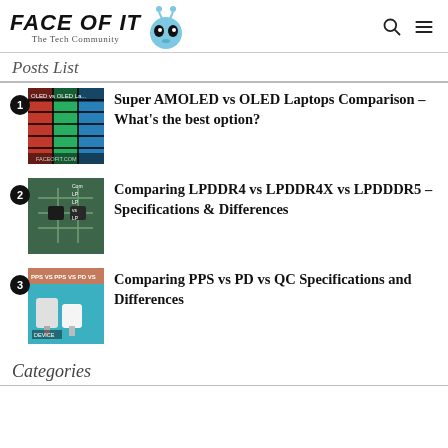FACE OF IT - The Tech Community
Posts List
Super AMOLED vs OLED Laptops Comparison – What's the best option?
Comparing LPDDR4 vs LPDDR4X vs LPDDDR5 – Specifications & Differences
Comparing PPS vs PD vs QC Specifications and Differences
Categories